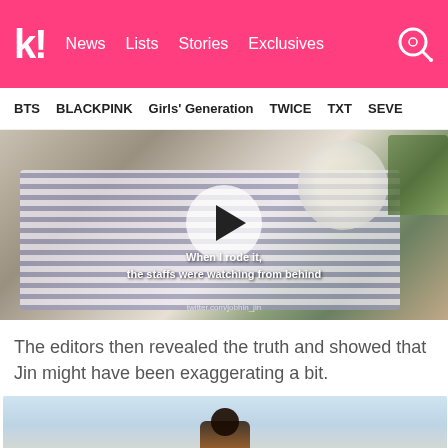k! News  Lists  Stories  Exclusives
BTS  BLACKPINK  Girls' Generation  TWICE  TXT  SEVE
[Figure (screenshot): Video thumbnail showing a person in a striped shirt viewed from behind, with subtitle text: 'When I rode it, the staffs were watching from behind'. A play button is overlaid in the center.]
The editors then revealed the truth and showed that Jin might have been exaggerating a bit.
[Figure (screenshot): Partial image showing a figure at the bottom against a light blue/cream background.]